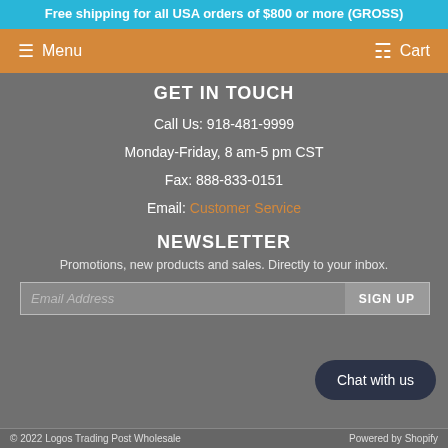Free shipping for all USA orders of $800 or more (GROSS)
Menu | Cart
GET IN TOUCH
Call Us: 918-481-9999
Monday-Friday, 8 am-5 pm CST
Fax: 888-833-0151
Email: Customer Service
NEWSLETTER
Promotions, new products and sales. Directly to your inbox.
Email Address | SIGN UP
Chat with us
© 2022 Logos Trading Post Wholesale   Powered by Shopify